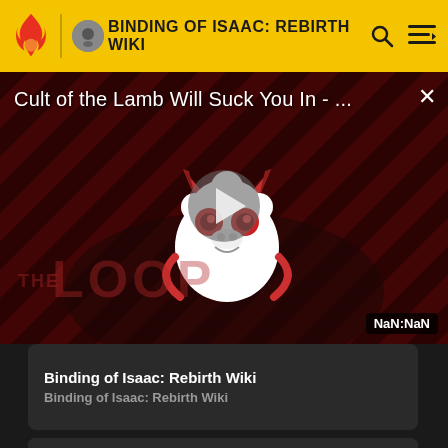BINDING OF ISAAC: REBIRTH WIKI
[Figure (screenshot): Video player overlay showing 'Cult of the Lamb Will Suck You In - ...' with a play button, diagonal striped background, a cartoon creature character, 'THE LOOP' text watermark, and a NaN:NaN duration badge. Close button (×) in top right.]
Binding of Isaac: Rebirth Wiki
Binding of Isaac: Rebirth Wiki
[Figure (screenshot): Bottom preview card showing dark rocky dungeon floor texture]